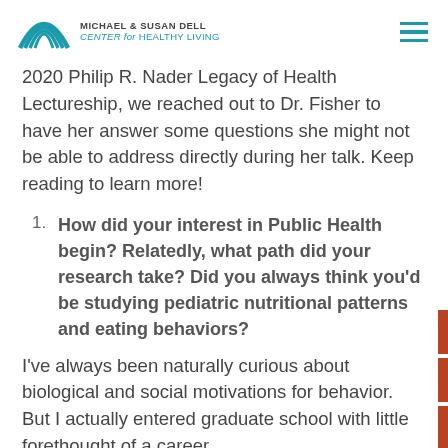MICHAEL & SUSAN DELL CENTER for HEALTHY LIVING
2020 Philip R. Nader Legacy of Health Lectureship, we reached out to Dr. Fisher to have her answer some questions she might not be able to address directly during her talk. Keep reading to learn more!
How did your interest in Public Health begin? Relatedly, what path did your research take? Did you always think you'd be studying pediatric nutritional patterns and eating behaviors?
I've always been naturally curious about biological and social motivations for behavior.  But I actually entered graduate school with little forethought of a career